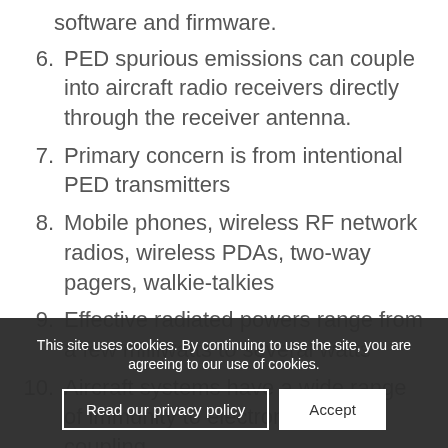software and firmware.
6. PED spurious emissions can couple into aircraft radio receivers directly through the receiver antenna.
7. Primary concern is from intentional PED transmitters
8. Mobile phones, wireless RF network radios, wireless PDAs, two-way pagers, walkie-talkies
9. Effective radiated powers range from a few milliwatts to several watts
10. Aircraft systems have a wide range of immunity to electromagnetic coupling.
11. For flight deck equip... rich-screen interfaces, severe turbulence